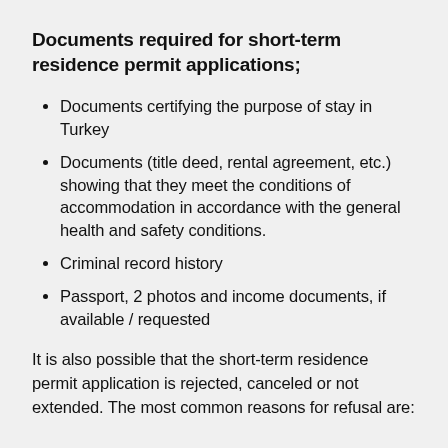Documents required for short-term residence permit applications;
Documents certifying the purpose of stay in Turkey
Documents (title deed, rental agreement, etc.) showing that they meet the conditions of accommodation in accordance with the general health and safety conditions.
Criminal record history
Passport, 2 photos and income documents, if available / requested
It is also possible that the short-term residence permit application is rejected, canceled or not extended. The most common reasons for refusal are: